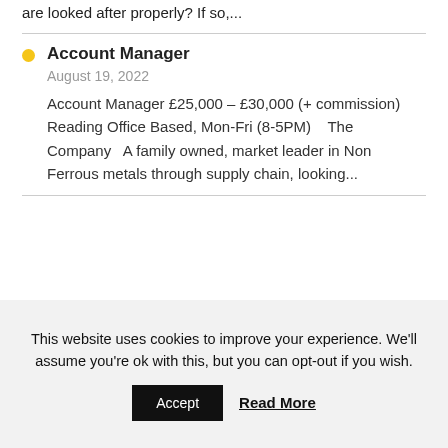are looked after properly? If so,...
Account Manager
August 19, 2022
Account Manager £25,000 – £30,000 (+ commission) Reading Office Based, Mon-Fri (8-5PM)    The Company   A family owned, market leader in Non Ferrous metals through supply chain, looking...
This website uses cookies to improve your experience. We'll assume you're ok with this, but you can opt-out if you wish.